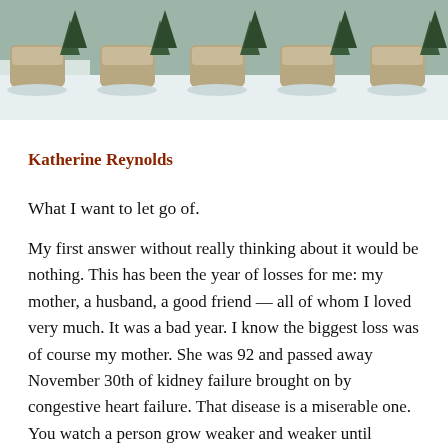[Figure (photo): A strip of five repeated photos showing a large stone boulder on a snowy ground with evergreen trees in the background.]
Katherine Reynolds
What I want to let go of.
My first answer without really thinking about it would be nothing. This has been the year of losses for me: my mother, a husband, a good friend — all of whom I loved very much. It was a bad year. I know the biggest loss was of course my mother. She was 92 and passed away November 30th of kidney failure brought on by congestive heart failure. That disease is a miserable one. You watch a person grow weaker and weaker until something gives: